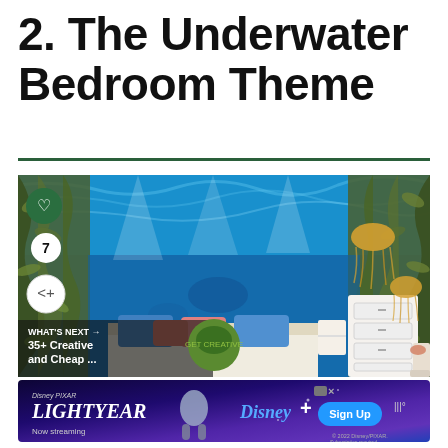2. The Underwater Bedroom Theme
[Figure (photo): An underwater-themed bedroom with ocean mural wallpaper, jellyfish pendant lights, seaweed curtains, blue and coral pillows on the bed, and a white dresser. Social media interaction icons (heart, share) and a number badge are overlaid on the left side of the image.]
[Figure (other): Advertisement banner for Disney Pixar Lightyear on Disney+, featuring the film title, a character, Disney+ logo, and a Sign Up button.]